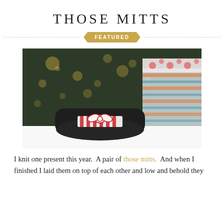THOSE MITTS
FEATURED
[Figure (photo): Black knitted mittens tied together with a red and white striped ribbon, placed on a white surface with a lit Christmas tree and a striped gift box in the background.]
I knit one present this year.  A pair of those mitts.  And when I finished I laid them on top of each other and low and behold they